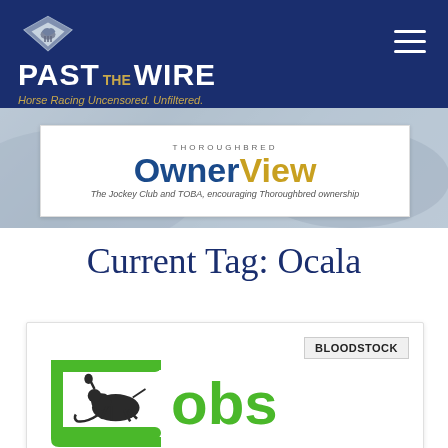[Figure (logo): Past The Wire logo - diamond shape with horse, white text 'PAST THE WIRE' in dark blue header with gold 'THE', gold italic tagline 'Horse Racing Uncensored. Unfiltered.']
[Figure (logo): Thoroughbred OwnerView banner - white rectangle with blue 'Owner' and gold 'View' text, tagline 'The Jockey Club and TOBA, encouraging Thoroughbred ownership']
Current Tag: Ocala
BLOODSTOCK
[Figure (logo): OBS (Ocala Breeders' Sales) logo - green rounded bracket shape with horse and jockey illustration, green 'obs' text]